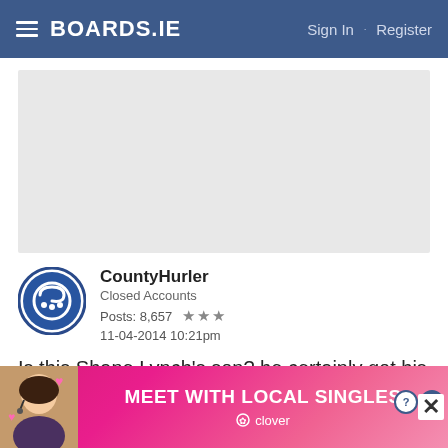BOARDS.IE  Sign In · Register
[Figure (other): Gray advertisement placeholder banner]
CountyHurler
Closed Accounts
Posts: 8,657 ★★★
11-04-2014 10:21pm
Is this Shane Lynch's son? he certainly got his voice
[Figure (other): MEET WITH LOCAL SINGLES advertisement banner with woman photo and clover logo]